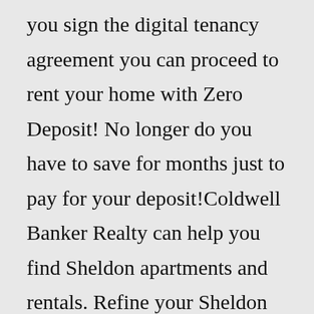you sign the digital tenancy agreement you can proceed to rent your home with Zero Deposit! No longer do you have to save for months just to pay for your deposit!Coldwell Banker Realty can help you find Sheldon apartments and rentals. Refine your Sheldon rental search results by price, property type, bedrooms, baths and other features. Need more information? View our Sheldon real estate offices and let